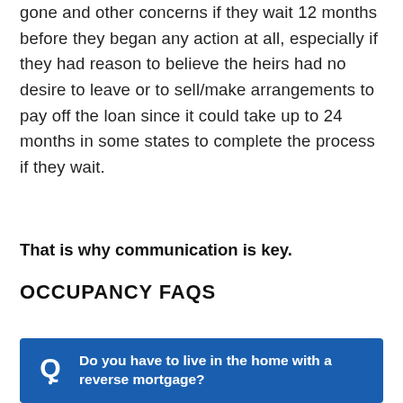gone and other concerns if they wait 12 months before they began any action at all, especially if they had reason to believe the heirs had no desire to leave or to sell/make arrangements to pay off the loan since it could take up to 24 months in some states to complete the process if they wait.
That is why communication is key.
OCCUPANCY FAQS
Q. Do you have to live in the home with a reverse mortgage?